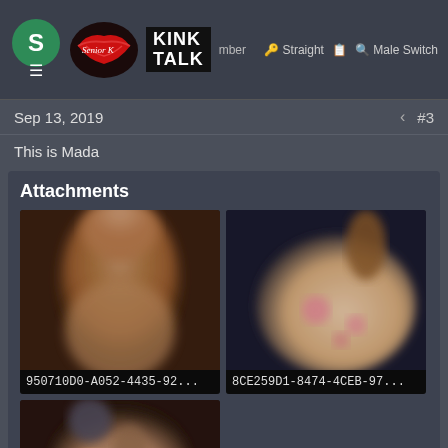Kink Talk - Senior Member
Sep 13, 2019  #3
This is Mada
Attachments
[Figure (photo): Blurred explicit photo thumbnail labeled 950710D0-A052-4435-92...]
[Figure (photo): Blurred explicit photo thumbnail labeled 8CE259D1-8474-4CEB-97...]
[Figure (photo): Blurred explicit photo thumbnail, partial view, third attachment]